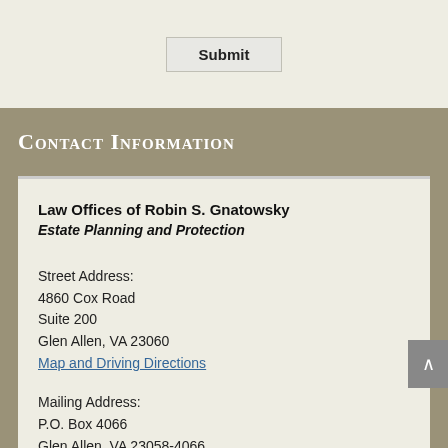Submit
Contact Information
Law Offices of Robin S. Gnatowsky
Estate Planning and Protection
Street Address:
4860 Cox Road
Suite 200
Glen Allen, VA 23060
Map and Driving Directions
Mailing Address:
P.O. Box 4066
Glen Allen, VA 23058-4066